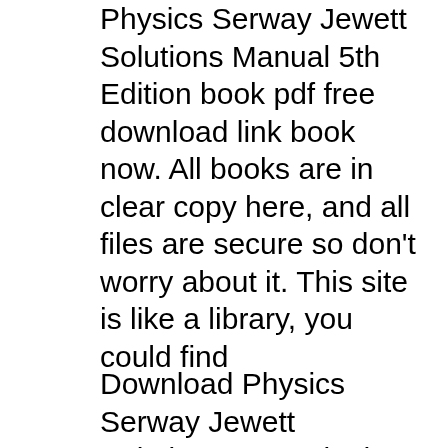Physics Serway Jewett Solutions Manual 5th Edition book pdf free download link book now. All books are in clear copy here, and all files are secure so don't worry about it. This site is like a library, you could find
Download Physics Serway Jewett Solutions Manual 5th Edition book pdf free download link or read online here in PDF. Read online Physics Serway Jewett Solutions Manual 5th Edition book pdf free download link book now. All books are in clear copy here, and all files are secure so don't worry about it. This site is like a library, you could find Download Physics Serway Jewett Solutions Manual 5th Edition book pdf free download link